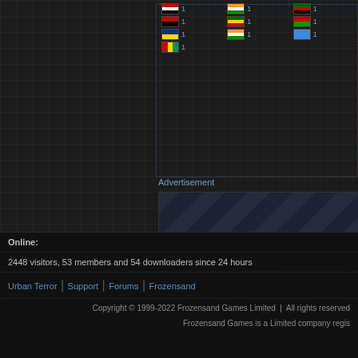[Figure (other): Country flags with visit counts (1 each) in a grid layout: Egypt, India, Kenya, Angola, Ghana, Burkina Faso, Ukraine, Somalia, Guinea flags shown with count of 1]
Advertisement
[Figure (other): Advertisement placeholder box with diagonal stripe pattern]
Online:
2448 visitors, 53 members and 54 downloaders since 24 hours
Urban Terror | Support | Forums | Frozensand
Copyright © 1999-2022 Frozensand Games Limited  |  All rights reserved
Frozensand Games is a Limited company regis